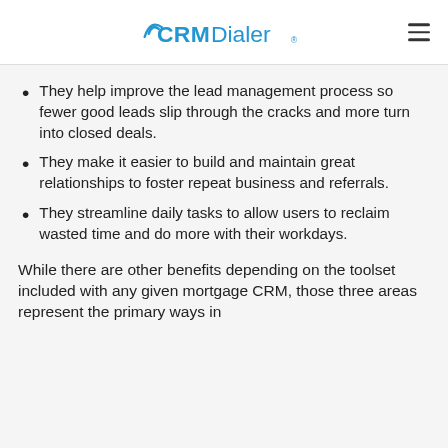CRM Dialer
They help improve the lead management process so fewer good leads slip through the cracks and more turn into closed deals.
They make it easier to build and maintain great relationships to foster repeat business and referrals.
They streamline daily tasks to allow users to reclaim wasted time and do more with their workdays.
While there are other benefits depending on the toolset included with any given mortgage CRM, those three areas represent the primary ways in